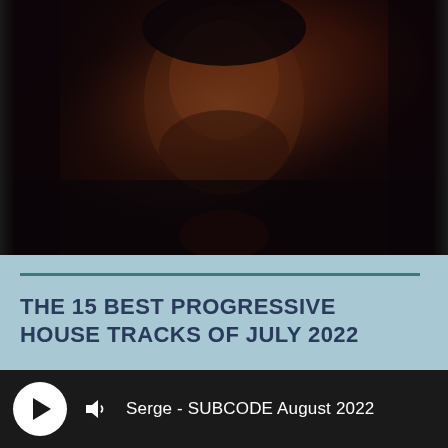[Figure (photo): Dark portrait photograph of a man, dimly lit with warm reddish background tones, viewed from slightly below, wearing a dark shirt]
THE 15 BEST PROGRESSIVE HOUSE TRACKS OF JULY 2022
Sub Code   8 August 2022
Here we are mid summer and July has come to a close
Serge - SUBCODE August 2022